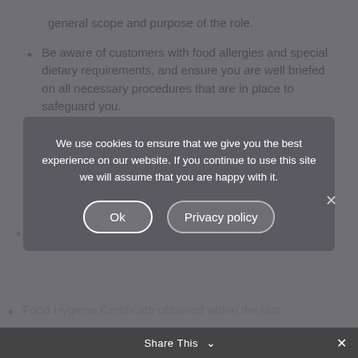general scope and purpose of the role.
Be aware of customers with food allergies and special dietary requirements, and ensure you are well briefed on all necessary procedures that are in place to safeguard you.
Contribute to new product development.
[Figure (screenshot): Cookie consent modal overlay with dark semi-transparent background, message 'We use cookies to ensure that we give you the best experience on our website. If you continue to use this site we will assume that you are happy with it.' with Ok and Privacy policy buttons, and a close X button. Partially visible background content includes list items. A Share This bar with chevron and close X is at the bottom.]
Food Hygiene Certificate obtained within the last